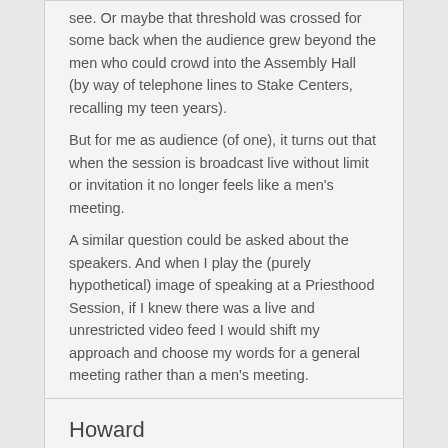see. Or maybe that threshold was crossed for some back when the audience grew beyond the men who could crowd into the Assembly Hall (by way of telephone lines to Stake Centers, recalling my teen years). But for me as audience (of one), it turns out that when the session is broadcast live without limit or invitation it no longer feels like a men's meeting. A similar question could be asked about the speakers. And when I play the (purely hypothetical) image of speaking at a Priesthood Session, if I knew there was a live and unrestricted video feed I would shift my approach and choose my words for a general meeting rather than a men's meeting.
Howard